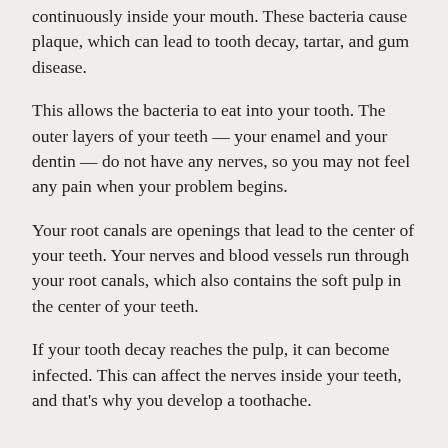continuously inside your mouth. These bacteria cause plaque, which can lead to tooth decay, tartar, and gum disease.
This allows the bacteria to eat into your tooth. The outer layers of your teeth — your enamel and your dentin — do not have any nerves, so you may not feel any pain when your problem begins.
Your root canals are openings that lead to the center of your teeth. Your nerves and blood vessels run through your root canals, which also contains the soft pulp in the center of your teeth.
If your tooth decay reaches the pulp, it can become infected. This can affect the nerves inside your teeth, and that's why you develop a toothache.